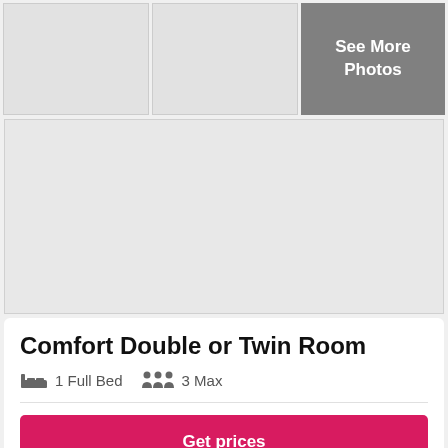[Figure (photo): Top row of hotel room photos: two gray placeholder images on the left and center, and a dark gray box on the right with 'See More Photos' text]
[Figure (photo): Wide hotel room photo placeholder, light gray]
Comfort Double or Twin Room
1 Full Bed   3 Max
Get prices
During your stay at this aparthotel, you're just a quick walk from